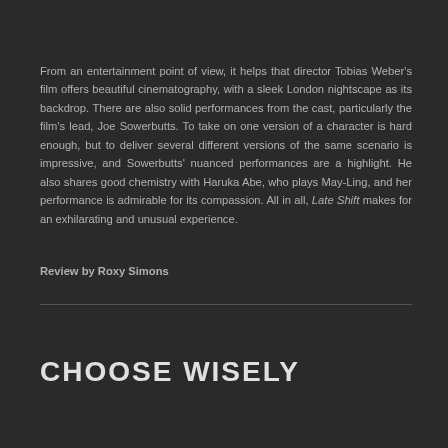From an entertainment point of view, it helps that director Tobias Weber's film offers beautiful cinematography, with a sleek London nightscape as its backdrop. There are also solid performances from the cast, particularly the film's lead, Joe Sowerbutts. To take on one version of a character is hard enough, but to deliver several different versions of the same scenario is impressive, and Sowerbutts' nuanced performances are a highlight. He also shares good chemistry with Haruka Abe, who plays May-Ling, and her performance is admirable for its compassion. All in all, Late Shift makes for an exhilarating and unusual experience.
Review by Roxy Simons
CHOOSE WISELY